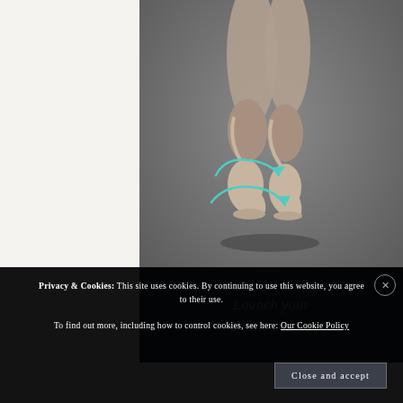[Figure (photo): Close-up photo of ballet dancer feet in pointe shoes, shown on a gray background. Two teal/mint colored curved arrows are overlaid on the lower portion of the image pointing to the right.]
Launch your online course
Privacy & Cookies: This site uses cookies. By continuing to use this website, you agree to their use.
To find out more, including how to control cookies, see here: Our Cookie Policy
Close and accept